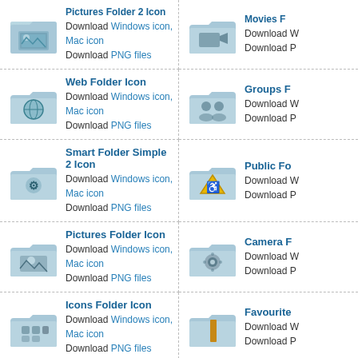Pictures Folder 2 Icon - Download Windows icon, Mac icon / Download PNG files
Movies Folder Icon - Download Windows icon, Mac icon / Download PNG files
Web Folder Icon - Download Windows icon, Mac icon / Download PNG files
Groups Folder Icon - Download Windows icon, Mac icon / Download PNG files
Smart Folder Simple 2 Icon - Download Windows icon, Mac icon / Download PNG files
Public Folder Icon - Download Windows icon, Mac icon / Download PNG files
Pictures Folder Icon - Download Windows icon, Mac icon / Download PNG files
Camera Folder Icon - Download Windows icon, Mac icon / Download PNG files
Icons Folder Icon - Download Windows icon, Mac icon / Download PNG files
Favourites Folder Icon - Download Windows icon, Mac icon / Download PNG files
Downloads Folder Icon - Download Windows icon, Mac icon / Download PNG files
Classic Folder Icon - Download Windows icon, Mac icon / Download PNG files
Private Folder Icon - Download Windows icon, Mac icon / Download PNG files
Sites Folder Icon - Download Windows icon, Mac icon / Download PNG files